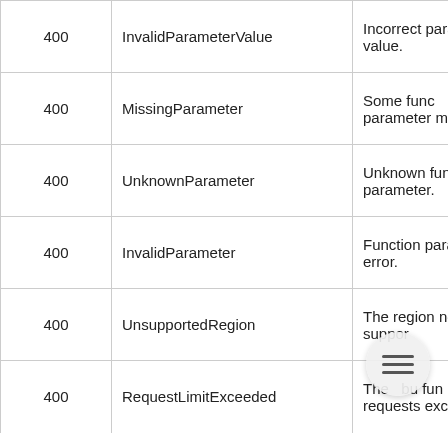| HTTP Status Code | Error Code | Description |
| --- | --- | --- |
| 400 | InvalidParameterValue | Incorrect parameter value. |
| 400 | MissingParameter | Some function parameter is missing. |
| 400 | UnknownParameter | Unknown function parameter. |
| 400 | InvalidParameter | Function parameter error. |
| 400 | UnsupportedRegion | The region is not supported. |
| 400 | RequestLimitExceeded | The number of function requests exceeds the… |